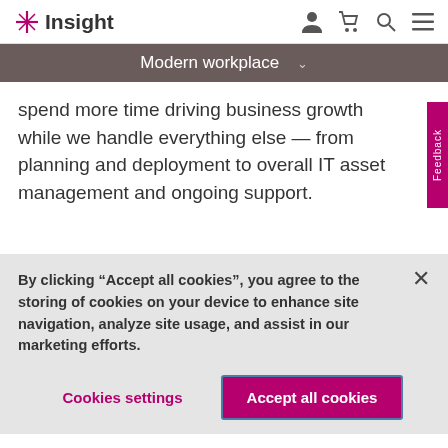Insight
Modern workplace
spend more time driving business growth while we handle everything else — from planning and deployment to overall IT asset management and ongoing support.
By clicking “Accept all cookies”, you agree to the storing of cookies on your device to enhance site navigation, analyze site usage, and assist in our marketing efforts.
Cookies settings
Accept all cookies